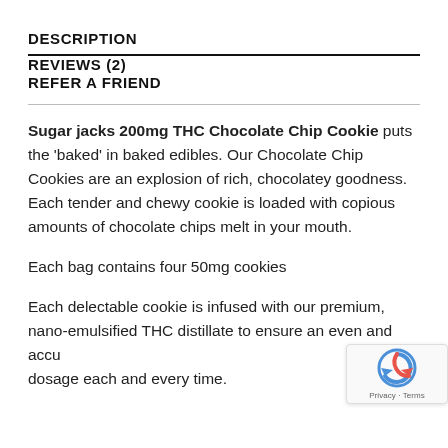DESCRIPTION
REVIEWS (2)
REFER A FRIEND
Sugar jacks 200mg THC Chocolate Chip Cookie puts the 'baked' in baked edibles. Our Chocolate Chip Cookies are an explosion of rich, chocolatey goodness. Each tender and chewy cookie is loaded with copious amounts of chocolate chips melt in your mouth.
Each bag contains four 50mg cookies
Each delectable cookie is infused with our premium, nano-emulsified THC distillate to ensure an even and accurate dosage each and every time.
[Figure (other): reCAPTCHA badge with Privacy and Terms links]